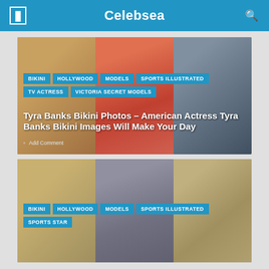Celebsea
[Figure (photo): Three photos of Tyra Banks in bikinis on a beach]
BIKINI
HOLLYWOOD
MODELS
SPORTS ILLUSTRATED
TV ACTRESS
VICTORIA SECRET MODELS
Tyra Banks Bikini Photos – American Actress Tyra Banks Bikini Images Will Make Your Day
Add Comment
[Figure (photo): Three photos of a blonde woman (Cameron Diaz) in bikinis]
BIKINI
HOLLYWOOD
MODELS
SPORTS ILLUSTRATED
SPORTS STAR